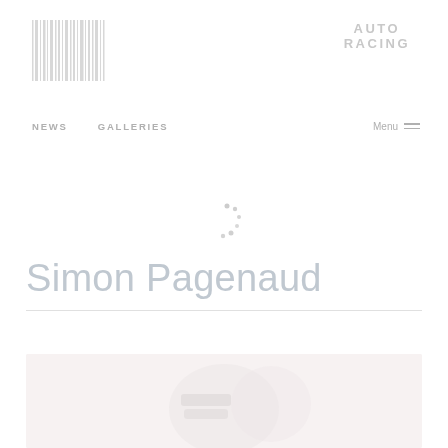[Figure (logo): Barcode-style vertical lines logo]
AUTO RACING
NEWS   GALLERIES   Menu
[Figure (other): Loading spinner dots]
Simon Pagenaud
[Figure (photo): Photo of Simon Pagenaud in racing gear, faded/loading]